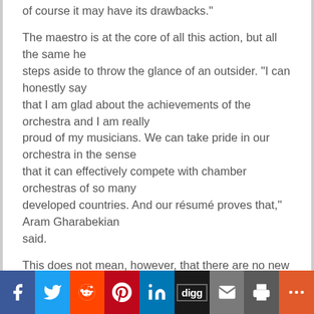of course it may have its drawbacks."
The maestro is at the core of all this action, but all the same he steps aside to throw the glance of an outsider. "I can honestly say that I am glad about the achievements of the orchestra and I am really proud of my musicians. We can take pride in our orchestra in the sense that it can effectively compete with chamber orchestras of so many developed countries. And our résumé proves that," Aram Gharabekian said.
This does not mean, however, that there are no new horizons to
[Figure (infographic): Social sharing bar with icons for Facebook, Twitter, Reddit, Pinterest, LinkedIn, Digg, Email, Print, and More]